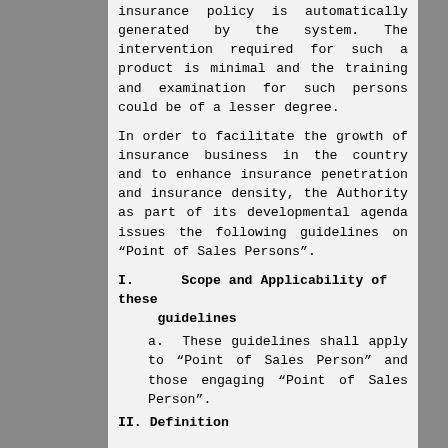insurance policy is automatically generated by the system. The intervention required for such a product is minimal and the training and examination for such persons could be of a lesser degree.
In order to facilitate the growth of insurance business in the country and to enhance insurance penetration and insurance density, the Authority as part of its developmental agenda issues the following guidelines on “Point of Sales Persons”.
I.     Scope and Applicability of these guidelines
a.   These guidelines shall apply to “Point of Sales Person” and those engaging “Point of Sales Person”.
II. Definition